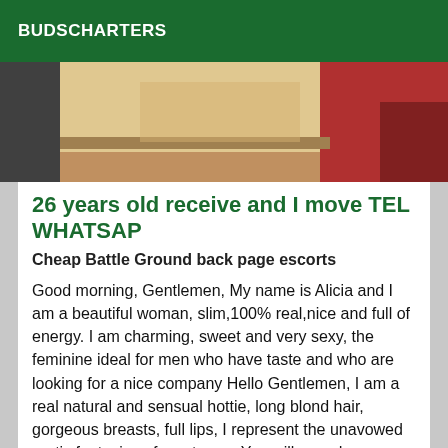BUDSCHARTERS
[Figure (photo): Partial photo of a person in a room with red and wooden tones visible]
26 years old receive and I move TEL WHATSAP
Cheap Battle Ground back page escorts
Good morning, Gentlemen, My name is Alicia and I am a beautiful woman, slim,100% real,nice and full of energy. I am charming, sweet and very sexy, the feminine ideal for men who have taste and who are looking for a nice company Hello Gentlemen, I am a real natural and sensual hottie, long blond hair, gorgeous breasts, full lips, I represent the unavowed erotic fantasies of most men. You will spend an unforgettable moment, I will make you discover sensations beyond your limits.